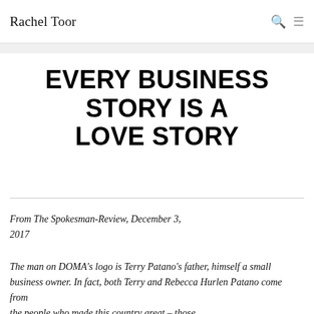Rachel Toor
EVERY BUSINESS STORY IS A LOVE STORY
From The Spokesman-Review, December 3, 2017
The man on DOMA's logo is Terry Patano's father, himself a small business owner. In fact, both Terry and Rebecca Hurlen Patano come from the people who made this country great – those who built America by creating businesses rooted in